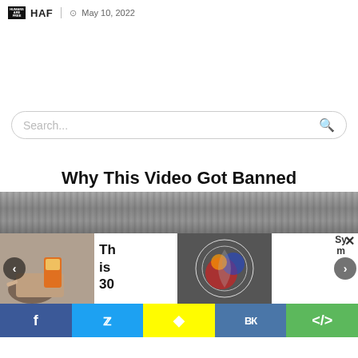HAF  May 10, 2022
[Figure (screenshot): Search bar with placeholder text 'Search...' and magnifying glass icon, rounded rectangle border]
Why This Video Got Banned
[Figure (photo): Blurry outdoor ground/grass photo, article thumbnail]
[Figure (screenshot): Carousel with two cards: left card shows hands with wooden spoon and orange box, text 'This 30'; right card shows spinning colorful object; arrows on sides; dismiss X; 'Sym' label top right; social share bar at bottom with Facebook, Twitter, Snapchat, VK, and share icons]